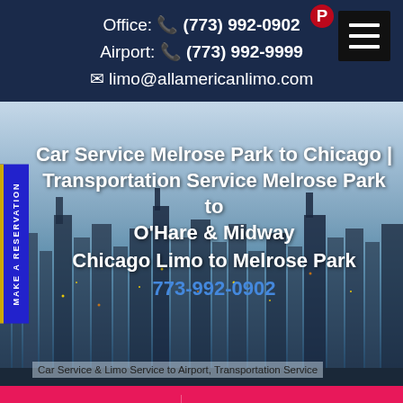Office: (773) 992-0902
Airport: (773) 992-9999
limo@allamericanlimo.com
Car Service Melrose Park to Chicago | Transportation Service Melrose Park to O'Hare & Midway
Chicago Limo to Melrose Park
773-992-0902
Car Service & Limo Service to Airport, Transportation Service
Call Us   Book Now